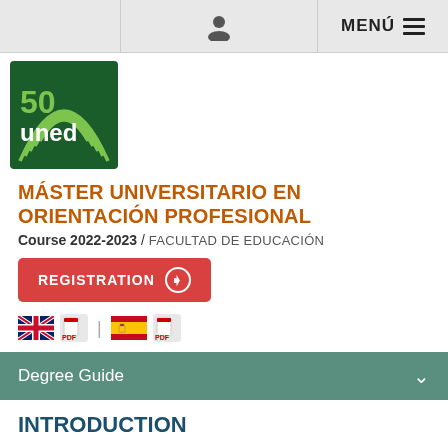[Figure (logo): UNED university logo - green square with '50' anniversary mark and 'uned' text in white]
MENÚ
MÁSTER UNIVERSITARIO EN ORIENTACIÓN PROFESIONAL
Course 2022-2023 / FACULTAD DE EDUCACIÓN
REGISTRATION
[Figure (illustration): UK flag and PDF icon, Spanish flag and PDF icon with divider]
Degree Guide
INTRODUCTION
This official Master offers its students an innovative perspective on career guidance and a specialized profile aimed both at intervention for the integral, professional development of young people and